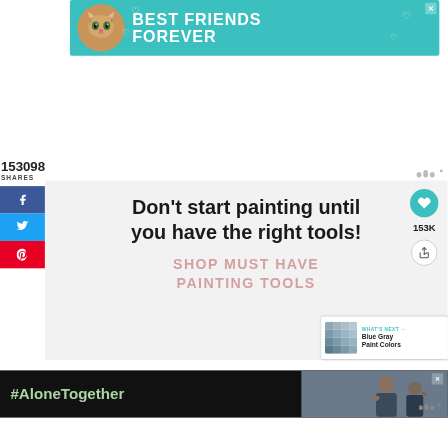[Figure (screenshot): Teal/turquoise banner advertisement with cat image and text BEST FRIENDS FOREVER with heart decorations and X close button]
153098
SHARES
[Figure (screenshot): Social media share sidebar with Facebook (blue), Twitter (blue), and Pinterest (red) buttons]
Don't start painting until you have the right tools!
SHOP MUST HAVE PAINTING TOOLS
[Figure (screenshot): WHAT'S NEXT arrow with Blue Gray Paint Colors thumbnail]
[Figure (screenshot): Bottom banner advertisement with black background, #AloneTogether text in green and photo of people]